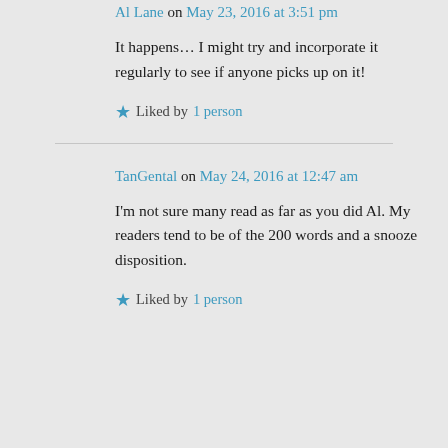Al Lane on May 23, 2016 at 3:51 pm
It happens… I might try and incorporate it regularly to see if anyone picks up on it!
Liked by 1 person
TanGental on May 24, 2016 at 12:47 am
I'm not sure many read as far as you did Al. My readers tend to be of the 200 words and a snooze disposition.
Liked by 1 person